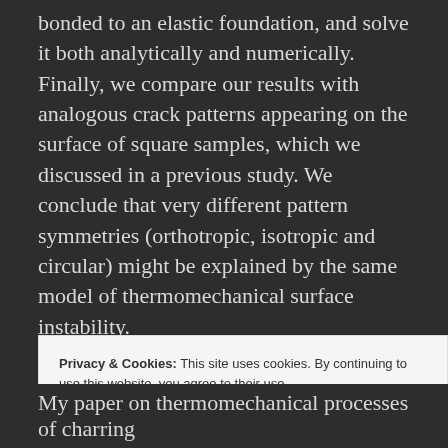bonded to an elastic foundation, and solve it both analytically and numerically. Finally, we compare our results with analogous crack patterns appearing on the surface of square samples, which we discussed in a previous study. We conclude that very different pattern symmetries (orthotropic, isotropic and circular) might be explained by the same model of thermomechanical surface instability.
Andrea Ferrantelli / September 13, 2017 / Engineering, Materials science, Physics, Science, Soft matter / science / Leave a comment
Privacy & Cookies: This site uses cookies. By continuing to use this website, you agree to their use. To find out more, including how to control cookies, see here: Cookie Policy
My paper on thermomechanical processes of charring